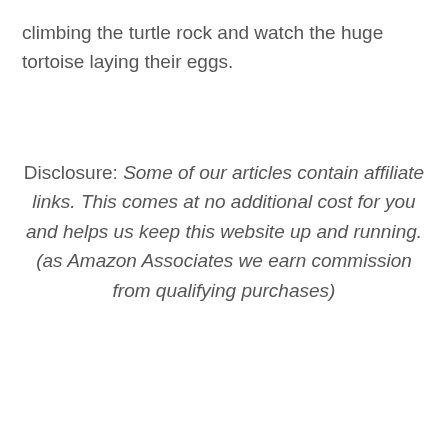climbing the turtle rock and watch the huge tortoise laying their eggs.
Disclosure: Some of our articles contain affiliate links. This comes at no additional cost for you and helps us keep this website up and running. (as Amazon Associates we earn commission from qualifying purchases)